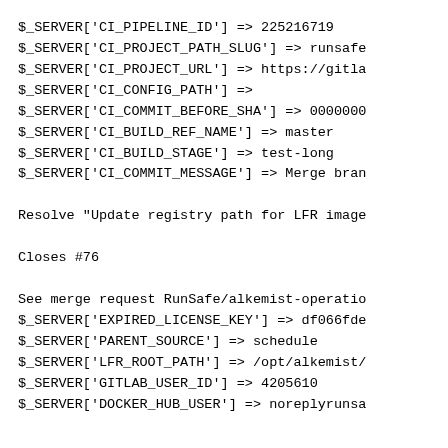$_SERVER['CI_PIPELINE_ID'] => 225216719
$_SERVER['CI_PROJECT_PATH_SLUG'] => runsafe
$_SERVER['CI_PROJECT_URL'] => https://gitla
$_SERVER['CI_CONFIG_PATH'] =>
$_SERVER['CI_COMMIT_BEFORE_SHA'] => 0000000
$_SERVER['CI_BUILD_REF_NAME'] => master
$_SERVER['CI_BUILD_STAGE'] => test-long
$_SERVER['CI_COMMIT_MESSAGE'] => Merge bran

Resolve "Update registry path for LFR image

Closes #76

See merge request RunSafe/alkemist-operatio
$_SERVER['EXPIRED_LICENSE_KEY'] => df066fde
$_SERVER['PARENT_SOURCE'] => schedule
$_SERVER['LFR_ROOT_PATH'] => /opt/alkemist/
$_SERVER['GITLAB_USER_ID'] => 4205610
$_SERVER['DOCKER_HUB_USER'] => noreplyrunsa